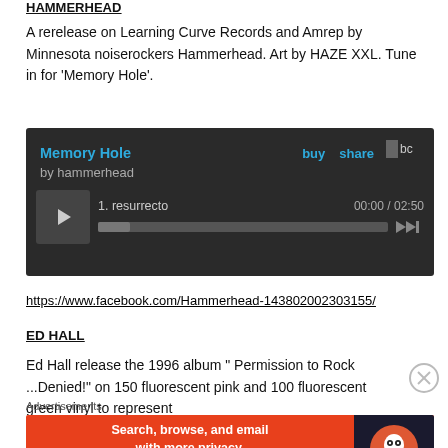HAMMERHEAD
A rerelease on Learning Curve Records and Amrep by Minnesota noiserockers Hammerhead. Art by HAZE XXL. Tune in for 'Memory Hole'.
[Figure (screenshot): Bandcamp music player widget showing 'Memory Hole' by hammerhead with track 1 'resurrecto' at 00:00 / 02:50. Dark background with blue title and buy/share links.]
https://www.facebook.com/Hammerhead-143802002303155/
ED HALL
Ed Hall release the 1996 album " Permission to Rock ...Denied!" on 150 fluorescent pink and 100 fluorescent green vinyl to represent
Advertisements
[Figure (screenshot): DuckDuckGo advertisement banner: 'Search, browse, and email with more privacy. All in One Free App' with DuckDuckGo logo on dark right panel.]